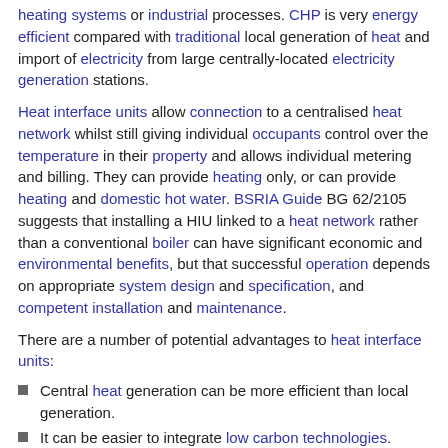heating systems or industrial processes. CHP is very energy efficient compared with traditional local generation of heat and import of electricity from large centrally-located electricity generation stations.
Heat interface units allow connection to a centralised heat network whilst still giving individual occupants control over the temperature in their property and allows individual metering and billing. They can provide heating only, or can provide heating and domestic hot water. BSRIA Guide BG 62/2105 suggests that installing a HIU linked to a heat network rather than a conventional boiler can have significant economic and environmental benefits, but that successful operation depends on appropriate system design and specification, and competent installation and maintenance.
There are a number of potential advantages to heat interface units:
Central heat generation can be more efficient than local generation.
It can be easier to integrate low carbon technologies.
As local boilers are not required, there is no gas distribution network or flue requirement. This can result in both capital an operational cost savings.
HIU's can be installed outside of individual properties, giving easy access for landlords.